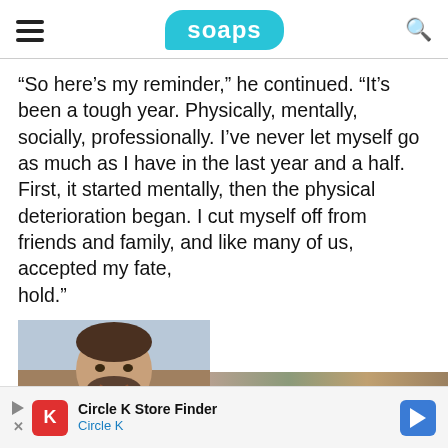soaps
“So here’s my reminder,” he continued. “It’s been a tough year. Physically, mentally, socially, professionally. I’ve never let myself go as much as I have in the last year and a half. First, it started mentally, then the physical deterioration began. I cut myself off from friends and family, and like many of us, accepted my fate, hold.”
[Figure (photo): A smiling man with dark hair and a beard, wearing a dark jacket, photographed outdoors.]
Circle K Store Finder
Circle K